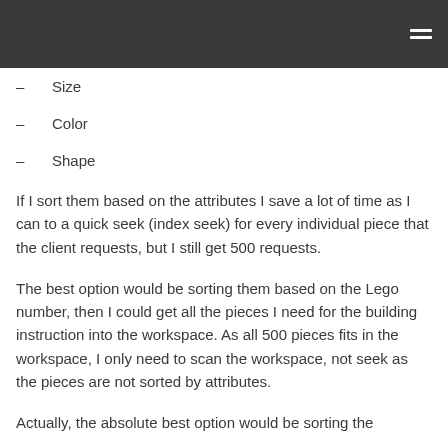Size
Color
Shape
If I sort them based on the attributes I save a lot of time as I can to a quick seek (index seek) for every individual piece that the client requests, but I still get 500 requests.
The best option would be sorting them based on the Lego number, then I could get all the pieces I need for the building instruction into the workspace. As all 500 pieces fits in the workspace, I only need to scan the workspace, not seek as the pieces are not sorted by attributes.
Actually, the absolute best option would be sorting the pieces based on attributes to all iterations of...